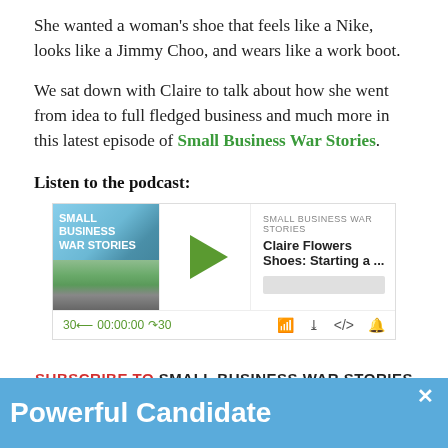She wanted a woman’s shoe that feels like a Nike, looks like a Jimmy Choo, and wears like a work boot.
We sat down with Claire to talk about how she went from idea to full fledged business and much more in this latest episode of Small Business War Stories.
Listen to the podcast:
[Figure (screenshot): Podcast player for 'Small Business War Stories' episode 'Claire Flowers Shoes: Starting a ...' with play button, progress bar, and playback controls showing 00:00:00]
SUBSCRIBE TO SMALL BUSINESS WAR STORIES
Powerful Candidate